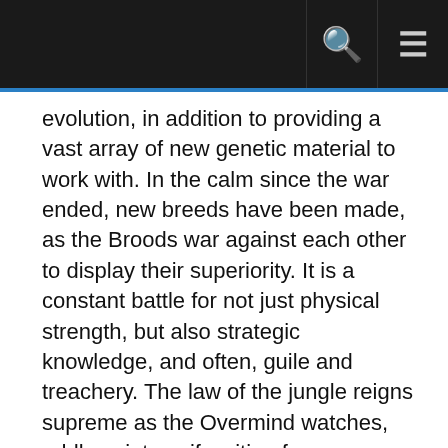evolution, in addition to providing a vast array of new genetic material to work with. In the calm since the war ended, new breeds have been made, as the Broods war against each other to display their superiority. It is a constant battle for not just physical strength, but also strategic knowledge, and often, guile and treachery. The law of the jungle reigns supreme as the Overmind watches, oddly quiet, as if waiting for something. That unifying order of the Overmind’s voice has not been heard for some time now, only his ever watching eye. What the ageless creature is waiting for, has yet to be made clear.
The Gracken Brood ~ Assault and Siege Specialists
<button class="decoda-spoilerButton" type="button" onclick="document.getElementById('spoilerContent-34').style.display = (document.getElementById('spoilerContent-34').style.display == 'block' ? 'none' : 'block');">Spoiler: Show / Hide</button>
The Cerebrate Draal is perhaps the oldest of the Cerebrates,